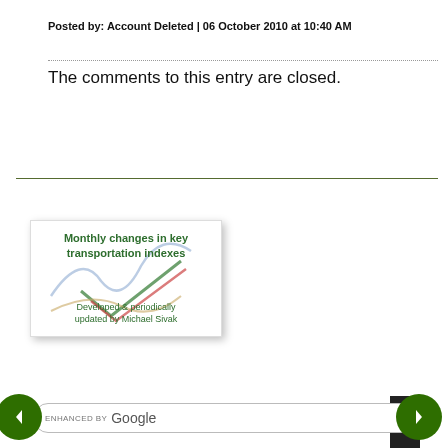Posted by: Account Deleted | 06 October 2010 at 10:40 AM
The comments to this entry are closed.
[Figure (illustration): Thumbnail image for 'Monthly changes in key transportation indexes' developed & periodically updated by Michael Sivak, with overlapping colored line/check marks on white background]
[Figure (other): Google search bar with 'ENHANCED BY Google' text, left and right navigation arrow buttons (dark green circles)]